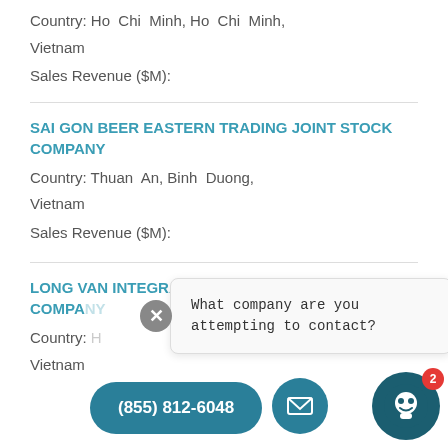Country: Ho Chi Minh, Ho Chi Minh, Vietnam
Sales Revenue ($M):
SAI GON BEER EASTERN TRADING JOINT STOCK COMPANY
Country: Thuan An, Binh Duong, Vietnam
Sales Revenue ($M):
LONG VAN INTEGRATION DATA JOINT STOCK COMPANY
Country: Vietnam